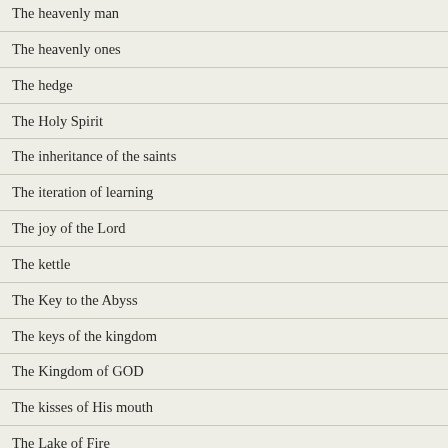The heavenly man
The heavenly ones
The hedge
The Holy Spirit
The inheritance of the saints
The iteration of learning
The joy of the Lord
The kettle
The Key to the Abyss
The keys of the kingdom
The Kingdom of GOD
The kisses of His mouth
The Lake of Fire